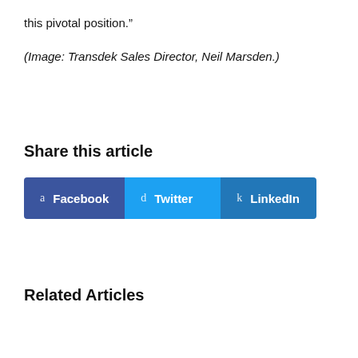this pivotal position.”
(Image: Transdek Sales Director, Neil Marsden.)
Share this article
[Figure (other): Social share buttons for Facebook, Twitter, and LinkedIn]
Related Articles